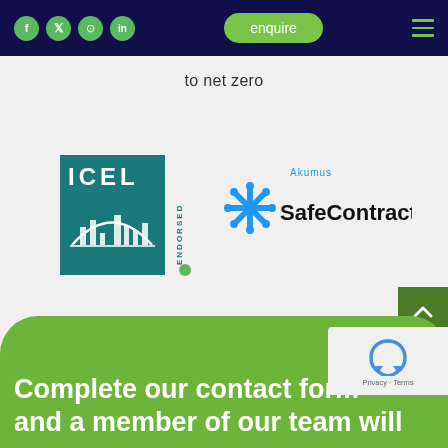Navigation bar with social icons (Facebook, Twitter, Instagram, LinkedIn), enquire button, and hamburger menu
to net zero
[Figure (logo): ICEL Endorsed logo - teal square with cityscape graphic and ENDORSED text on right side]
[Figure (logo): Akumus SafeContractor logo - blue snowflake/asterisk icon with SafeContractor text in black and Akumus in blue]
[Figure (other): Scroll to top arrow button - dark green square with upward chevron]
[Figure (other): reCAPTCHA widget showing recycling arrow icon with Privacy and Terms text]
Complete our contact form and a member of our team will